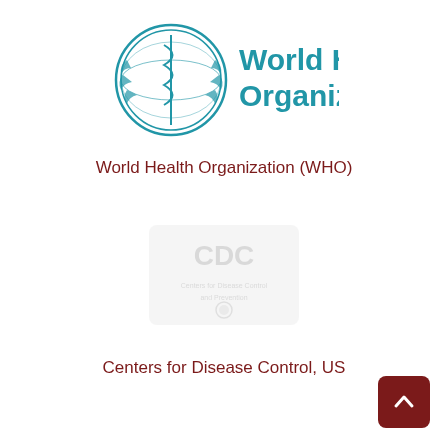[Figure (logo): World Health Organization logo with globe emblem and blue WHO text reading 'World Health Organization']
World Health Organization (WHO)
[Figure (logo): CDC (Centers for Disease Control) logo - faded/watermark style]
Centers for Disease Control, US